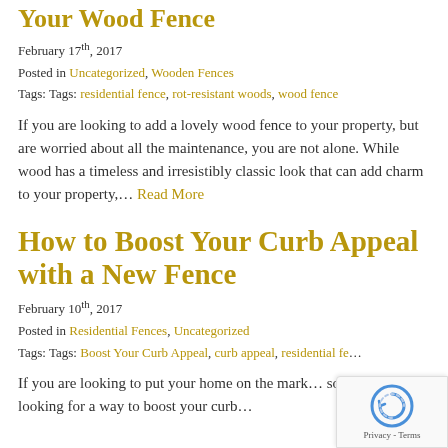Your Wood Fence (partial)
February 17th, 2017
Posted in Uncategorized, Wooden Fences
Tags: Tags: residential fence, rot-resistant woods, wood fence
If you are looking to add a lovely wood fence to your property, but are worried about all the maintenance, you are not alone. While wood has a timeless and irresistibly classic look that can add charm to your property,… Read More
How to Boost Your Curb Appeal with a New Fence
February 10th, 2017
Posted in Residential Fences, Uncategorized
Tags: Tags: Boost Your Curb Appeal, curb appeal, residential fe…
If you are looking to put your home on the mark… soon or just looking for a way to boost your curb…